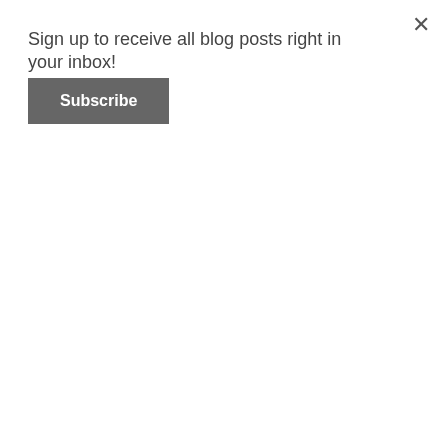Sign up to receive all blog posts right in your inbox!
Subscribe
[Figure (photo): Photo of legal study documents including a Case Brief template, a 'Cases to Know' sheet, and a Writing Assignment Planner, laid on a dark desk surface alongside a smartphone, pencil, notepad, and keyboard.]